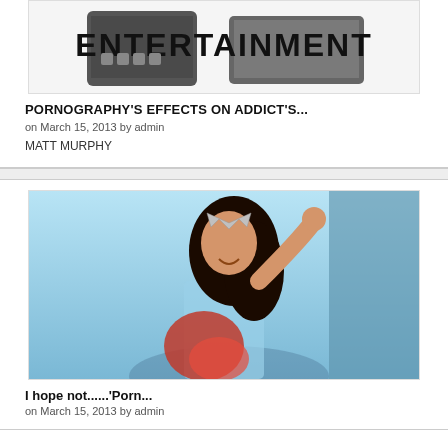[Figure (photo): Entertainment banner image showing tablets with 'ENTERTAINMENT' text]
PORNOGRAPHY'S EFFECTS ON ADDICT'S...
on March 15, 2013 by admin
MATT MURPHY
[Figure (photo): Photo of a woman in a pageant crown waving, holding red flowers, with blue background]
I hope not......'Porn...
on March 15, 2013 by admin